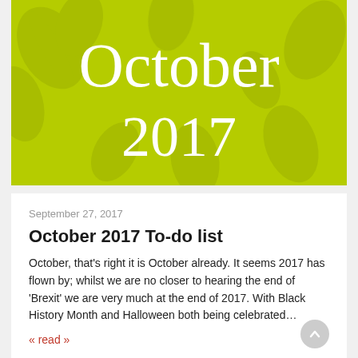[Figure (illustration): Yellow-green (lime) hero banner with decorative leaf/floral watermark pattern in background. White text reads 'FIRST' (partially cropped at top), 'October', '2017' in large serif font.]
September 27, 2017
October 2017 To-do list
October, that's right it is October already. It seems 2017 has flown by; whilst we are no closer to hearing the end of 'Brexit' we are very much at the end of 2017. With Black History Month and Halloween both being celebrated…
« read »